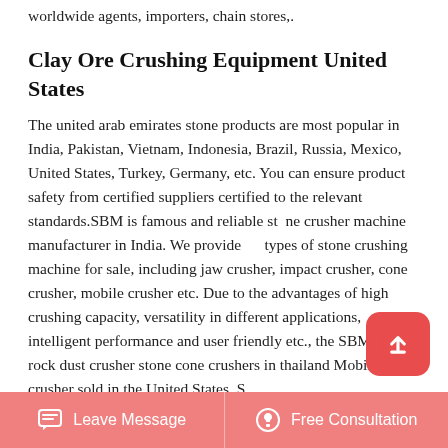worldwide agents, importers, chain stores,.
Clay Ore Crushing Equipment United States
The united arab emirates stone products are most popular in India, Pakistan, Vietnam, Indonesia, Brazil, Russia, Mexico, United States, Turkey, Germany, etc. You can ensure product safety from certified suppliers certified to the relevant standards.SBM is famous and reliable stone crusher machine manufacturer in India. We provide all types of stone crushing machine for sale, including jaw crusher, impact crusher, cone crusher, mobile crusher etc. Due to the advantages of high crushing capacity, versatility in different applications, intelligent performance and user friendly etc., the SBM.Small rock dust crusher stone cone crushers in thailand Mobile crusher sold in the United States. Stone cone manufacturer.
Leave Message   Free Consultation